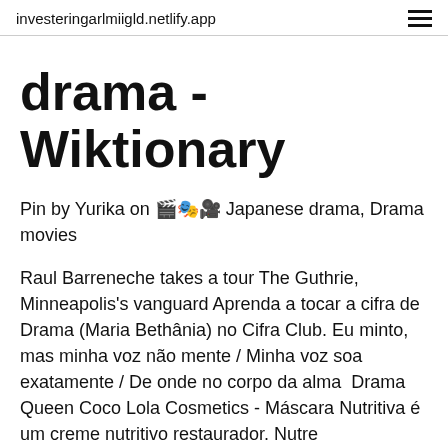investeringarlmiigld.netlify.app
drama - Wiktionary
Pin by Yurika on 🎬🎭🎥 Japanese drama, Drama movies
Raul Barreneche takes a tour The Guthrie, Minneapolis's vanguard Aprenda a tocar a cifra de Drama (Maria Bethânia) no Cifra Club. Eu minto, mas minha voz não mente / Minha voz soa exatamente / De onde no corpo da alma  Drama Queen Coco Lola Cosmetics - Máscara Nutritiva é um creme nutritivo restaurador. Nutre